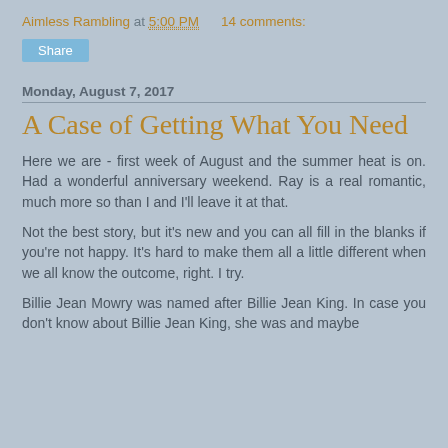Aimless Rambling at 5:00 PM   14 comments:
Share
Monday, August 7, 2017
A Case of Getting What You Need
Here we are - first week of August and the summer heat is on.  Had a wonderful anniversary weekend.  Ray is a real romantic, much more so than I and I'll leave it at that.
Not the best story, but it's new and you can all fill in the blanks if you're not happy.  It's hard to make them all a little different when we all know the outcome, right.  I try.
Billie Jean Mowry was named after Billie Jean King.  In case you don't know about Billie Jean King, she was and maybe